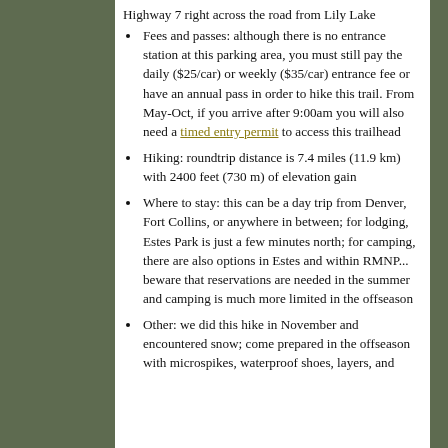Highway 7 right across the road from Lily Lake
Fees and passes: although there is no entrance station at this parking area, you must still pay the daily ($25/car) or weekly ($35/car) entrance fee or have an annual pass in order to hike this trail. From May-Oct, if you arrive after 9:00am you will also need a timed entry permit to access this trailhead
Hiking: roundtrip distance is 7.4 miles (11.9 km) with 2400 feet (730 m) of elevation gain
Where to stay: this can be a day trip from Denver, Fort Collins, or anywhere in between; for lodging, Estes Park is just a few minutes north; for camping, there are also options in Estes and within RMNP... beware that reservations are needed in the summer and camping is much more limited in the offseason
Other: we did this hike in November and encountered snow; come prepared in the offseason with microspikes, waterproof shoes, layers, and